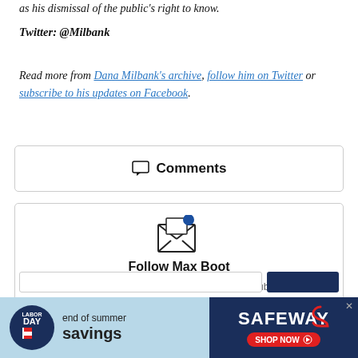as his dismissal of the public's right to know.
Twitter: @Milbank
Read more from Dana Milbank's archive, follow him on Twitter or subscribe to his updates on Facebook.
Comments
[Figure (illustration): Envelope icon with blue notification dot, above 'Follow Max Boot' signup box]
Follow Max Boot
Sign up to get email alerts every time Max Boot publishes a new opinion column.
[Figure (illustration): Safeway Labor Day end of summer savings advertisement banner at bottom of page]